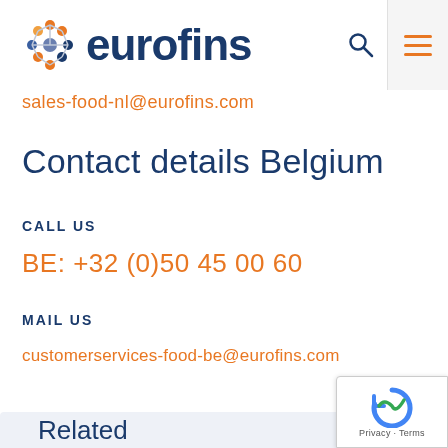[Figure (logo): Eurofins logo with colorful dot cluster and dark blue 'eurofins' wordmark, plus search icon and hamburger menu]
sales-food-nl@eurofins.com
Contact details Belgium
CALL US
BE: +32 (0)50 45 00 60
MAIL US
customerservices-food-be@eurofins.com
Related